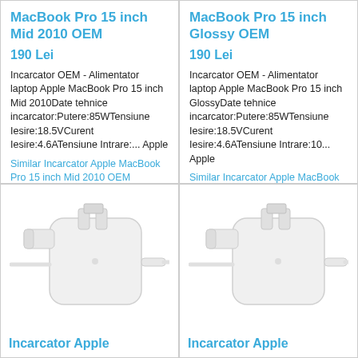MacBook Pro 15 inch Mid 2010 OEM
190 Lei
Incarcator OEM - Alimentator laptop Apple MacBook Pro 15 inch Mid 2010Date tehnice incarcator:Putere:85WTensiune Iesire:18.5VCurent Iesire:4.6ATensiune Intrare:... Apple
Similar Incarcator Apple MacBook Pro 15 inch Mid 2010 OEM
MacBook Pro 15 inch Glossy OEM
190 Lei
Incarcator OEM - Alimentator laptop Apple MacBook Pro 15 inch GlossyDate tehnice incarcator:Putere:85WTensiune Iesire:18.5VCurent Iesire:4.6ATensiune Intrare:10... Apple
Similar Incarcator Apple MacBook Pro 15 inch Glossy OEM
[Figure (photo): White Apple MagSafe 85W charger/power adapter with L-shaped connector and cable]
Incarcator Apple
[Figure (photo): White Apple MagSafe 85W charger/power adapter with L-shaped connector and cable]
Incarcator Apple